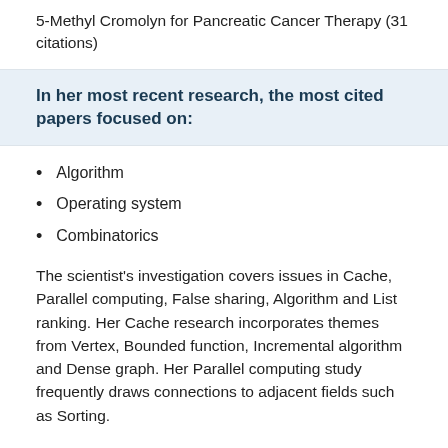5-Methyl Cromolyn for Pancreatic Cancer Therapy (31 citations)
In her most recent research, the most cited papers focused on:
Algorithm
Operating system
Combinatorics
The scientist's investigation covers issues in Cache, Parallel computing, False sharing, Algorithm and List ranking. Her Cache research incorporates themes from Vertex, Bounded function, Incremental algorithm and Dense graph. Her Parallel computing study frequently draws connections to adjacent fields such as Sorting.